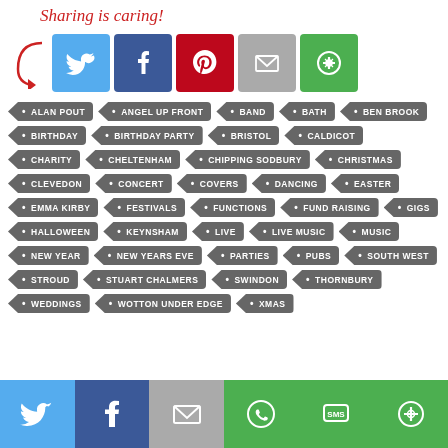Sharing is caring!
[Figure (infographic): Row of social sharing icons: Twitter (blue), Facebook (dark blue), Pinterest (red), Email (grey), More (green)]
ALAN POUT
ANGEL UP FRONT
BAND
BATH
BEN BROOK
BIRTHDAY
BIRTHDAY PARTY
BRISTOL
CALDICOT
CHARITY
CHELTENHAM
CHIPPING SODBURY
CHRISTMAS
CLEVEDON
CONCERT
COVERS
DANCING
EASTER
EMMA KIRBY
FESTIVALS
FUNCTIONS
FUND RAISING
GIGS
HALLOWEEN
KEYNSHAM
LIVE
LIVE MUSIC
MUSIC
NEW YEAR
NEW YEARS EVE
PARTIES
PUBS
SOUTH WEST
STROUD
STUART CHALMERS
SWINDON
THORNBURY
WEDDINGS
WOTTON UNDER EDGE
XMAS
[Figure (infographic): Bottom share bar: Twitter (blue), Facebook (dark blue), Email (grey), WhatsApp (green), SMS (green), More (green)]